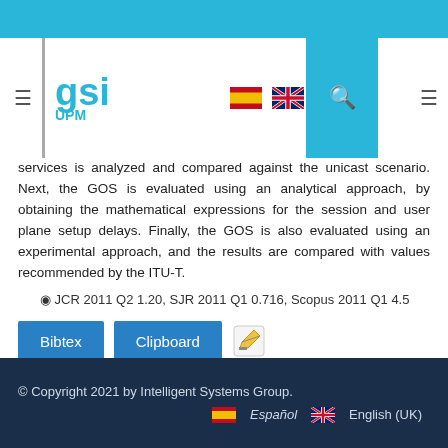GSI UPM — navigation header with logo, flags, search
services is analyzed and compared against the unicast scenario. Next, the GOS is evaluated using an analytical approach, by obtaining the mathematical expressions for the session and user plane setup delays. Finally, the GOS is also evaluated using an experimental approach, and the results are compared with values recommended by the ITU-T.
◉ JCR 2011 Q2 1.20, SJR 2011 Q1 0.716, Scopus 2011 Q1 4.5
Bibtex   Clipboard   [edit icon]
© Copyright 2021 by Intelligent Systems Group.   Español   English (UK)